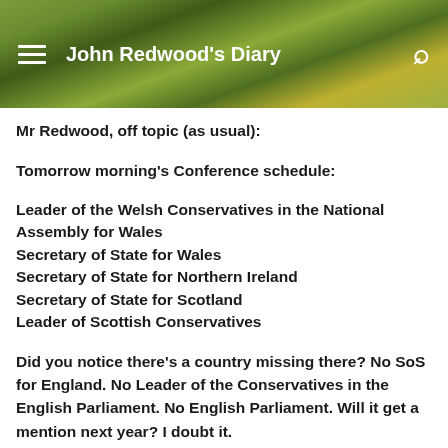John Redwood's Diary
Mr Redwood, off topic (as usual):
Tomorrow morning's Conference schedule:
Leader of the Welsh Conservatives in the National Assembly for Wales
Secretary of State for Wales
Secretary of State for Northern Ireland
Secretary of State for Scotland
Leader of Scottish Conservatives
Did you notice there's a country missing there? No SoS for England. No Leader of the Conservatives in the English Parliament. No English Parliament. Will it get a mention next year? I doubt it.